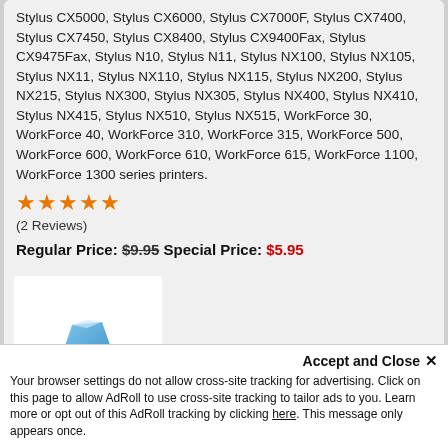Stylus CX5000, Stylus CX6000, Stylus CX7000F, Stylus CX7400, Stylus CX7450, Stylus CX8400, Stylus CX9400Fax, Stylus CX9475Fax, Stylus N10, Stylus N11, Stylus NX100, Stylus NX105, Stylus NX11, Stylus NX110, Stylus NX115, Stylus NX200, Stylus NX215, Stylus NX300, Stylus NX305, Stylus NX400, Stylus NX410, Stylus NX415, Stylus NX510, Stylus NX515, WorkForce 30, WorkForce 40, WorkForce 310, WorkForce 315, WorkForce 500, WorkForce 600, WorkForce 610, WorkForce 615, WorkForce 1100, WorkForce 1300 series printers.
★★★★½ (2 Reviews)
Regular Price: $9.95  Special Price: $5.95
Add to Cart
[Figure (photo): Product image area showing a blue ink cartridge on white background]
Accept and Close ✕
Your browser settings do not allow cross-site tracking for advertising. Click on this page to allow AdRoll to use cross-site tracking to tailor ads to you. Learn more or opt out of this AdRoll tracking by clicking here. This message only appears once.